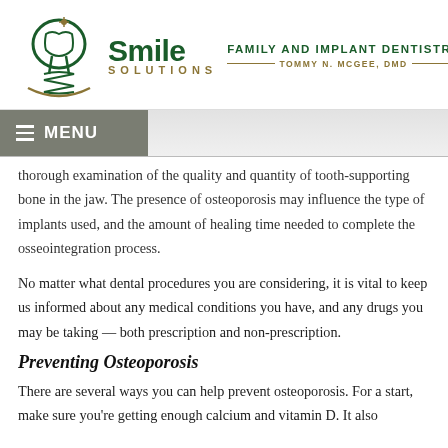[Figure (logo): Smile Solutions Family and Implant Dentistry logo with tooth and implant icon, Tommy N. McGee DMD]
MENU
thorough examination of the quality and quantity of tooth-supporting bone in the jaw. The presence of osteoporosis may influence the type of implants used, and the amount of healing time needed to complete the osseointegration process.
No matter what dental procedures you are considering, it is vital to keep us informed about any medical conditions you have, and any drugs you may be taking — both prescription and non-prescription.
Preventing Osteoporosis
There are several ways you can help prevent osteoporosis. For a start, make sure you're getting enough calcium and vitamin D. It also